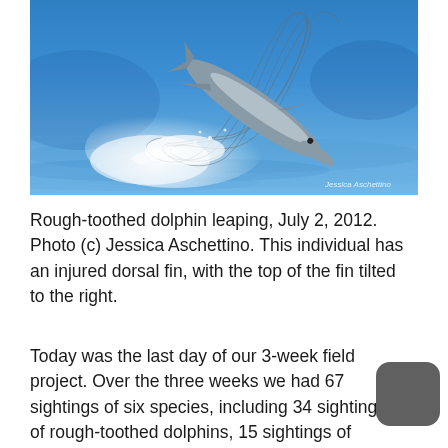[Figure (photo): A rough-toothed dolphin leaping out of blue ocean water, with white spray and ripples visible. The dolphin has a curved body mid-air. A watermark 'Jessica Aschettino' appears in the lower right corner.]
Rough-toothed dolphin leaping, July 2, 2012. Photo (c) Jessica Aschettino. This individual has an injured dorsal fin, with the top of the fin tilted to the right.
Today was the last day of our 3-week field project. Over the three weeks we had 67 sightings of six species, including 34 sightings of rough-toothed dolphins, 15 sightings of bottlenose dolphins, 10 sightings of spinner dolphins, 3 sightings of false killer...